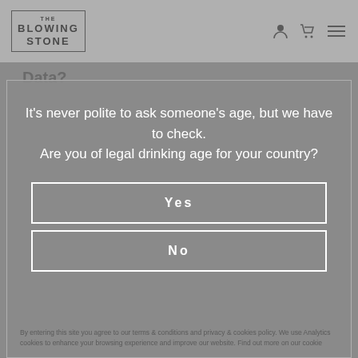The Blowing Stone
Data?
It's never polite to ask someone's age, but we have to check. Are you of legal drinking age for your country?
Yes
No
By entering this site you agree to our terms & conditions and privacy & cookies policy. We use Analytics cookies to enhance your browsing experience and improve our website. Find out more on our cookie